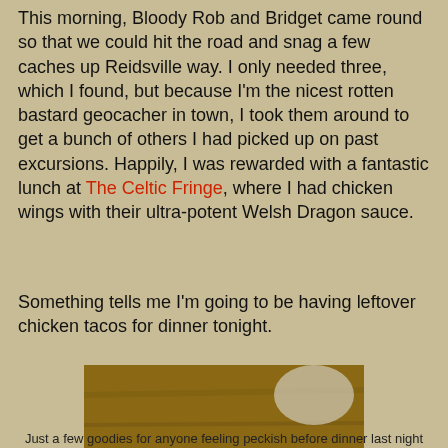This morning, Bloody Rob and Bridget came round so that we could hit the road and snag a few caches up Reidsville way. I only needed three, which I found, but because I'm the nicest rotten bastard geocacher in town, I took them around to get a bunch of others I had picked up on past excursions. Happily, I was rewarded with a fantastic lunch at The Celtic Fringe, where I had chicken wings with their ultra-potent Welsh Dragon sauce.
Something tells me I'm going to be having leftover chicken tacos for dinner tonight.
[Figure (photo): A table scene with a pink brain prop on a teal plate surrounded by dark green round food items, fake spiders scattered around, and a white box on the right containing eyeball-shaped candy/decorations. Wooden table surface visible.]
Just a few goodies for anyone feeling peckish before dinner last night